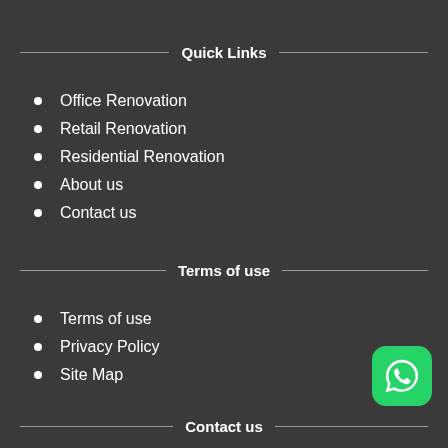Quick Links
Office Renovation
Retail Renovation
Residential Renovation
About us
Contact us
Terms of use
Terms of use
Privacy Policy
Site Map
Contact us
[Figure (logo): WhatsApp logo button, green rounded square with white phone/chat icon]